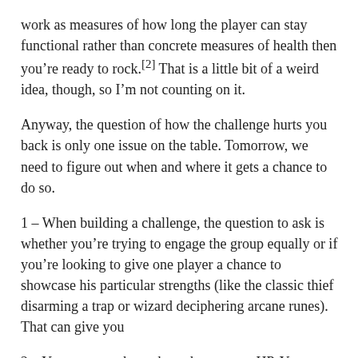work as measures of how long the player can stay functional rather than concrete measures of health then you’re ready to rock.[2] That is a little bit of a weird idea, though, so I’m not counting on it.
Anyway, the question of how the challenge hurts you back is only one issue on the table. Tomorrow, we need to figure out when and where it gets a chance to do so.
1 – When building a challenge, the question to ask is whether you’re trying to engage the group equally or if you’re looking to give one player a chance to showcase his particular strengths (like the classic thief disarming a trap or wizard deciphering arcane runes). That can give you
2 – You can even keep them the same as HP. Yes, there’s a temptation to switch stat from situation to situation, but that invites bookkeeping pain. Instead, I would suggest that endurance is the one truly unifying element required for all